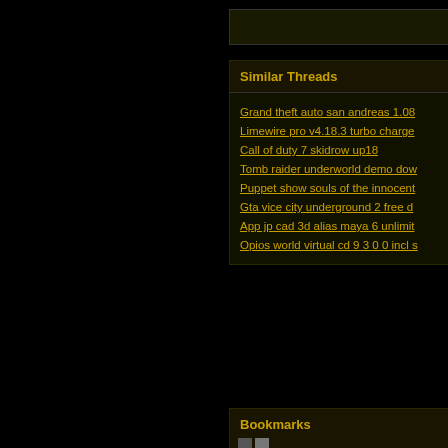Similar Threads
Grand theft auto san andreas 1.08
Limewire pro v4.18.3 turbo charge
Call of duty 7 skidrow up18
Tomb raider underworld demo dow
Puppet show souls of the innocent
Gta vice city underground 2 free d
App jp cad 3d alias maya 6 unlimit
Opios world virtual cd 9 3 0 0 incl s
Bookmarks